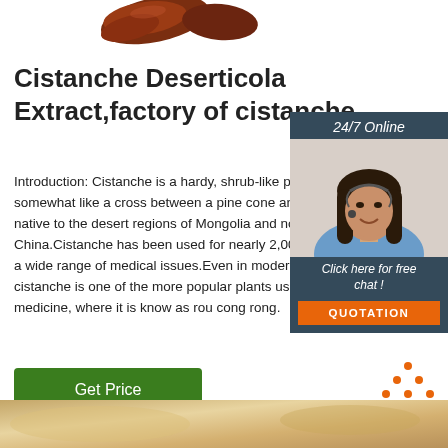[Figure (photo): Brown herbal extract pieces (cistanche) at top of page]
Cistanche Deserticola Extract,factory of cistanche
Introduction: Cistanche is a hardy, shrub-like plant, somewhat like a cross between a pine cone and native to the desert regions of Mongolia and northern China.Cistanche has been used for nearly 2,000 a wide range of medical issues.Even in modern times, cistanche is one of the more popular plants used in medicine, where it is know as rou cong rong.
[Figure (photo): 24/7 Online sidebar widget with woman wearing headset, Click here for free chat!, and QUOTATION button]
[Figure (illustration): Get Price green button]
[Figure (logo): TOP logo with orange dots forming a triangle above the word TOP]
[Figure (photo): Sandy/powdery beige surface at bottom of page]